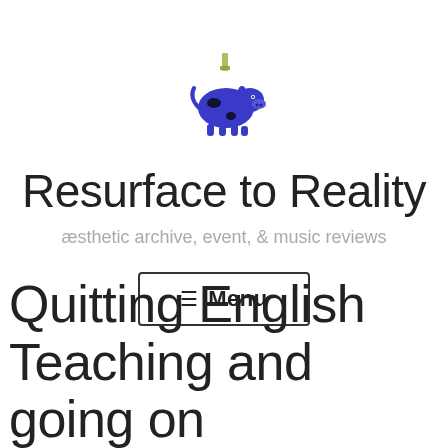[Figure (illustration): Small pixel-art style illustration of a blue cow with black spots wearing a party hat or bottle on its head]
Resurface to Reality
æsthetic archive, event, & music reviews
☰ Menu
Quitting English Teaching and going on